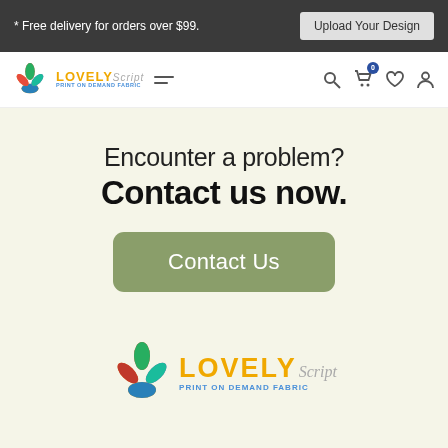* Free delivery for orders over $99.   Upload Your Design
[Figure (logo): Lovely Script Print on Demand Fabric logo with colorful cross/flower icon in navigation bar]
Encounter a problem?
Contact us now.
Contact Us
[Figure (logo): Lovely Script Print on Demand Fabric large footer logo with colorful cross/flower icon]